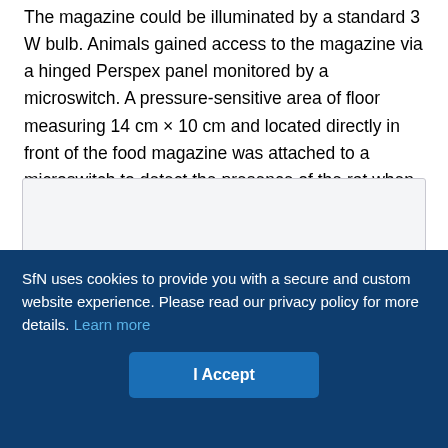The magazine could be illuminated by a standard 3 W bulb. Animals gained access to the magazine via a hinged Perspex panel monitored by a microswitch. A pressure-sensitive area of floor measuring 14 cm × 10 cm and located directly in front of the food magazine was attached to a microswitch to detect the presence of the rat when located in this area of the test chamber.
[Figure (other): A blank/white figure box with light gray background and border, appearing to be a placeholder or image area in a scientific article.]
SfN uses cookies to provide you with a secure and custom website experience. Please read our privacy policy for more details. Learn more